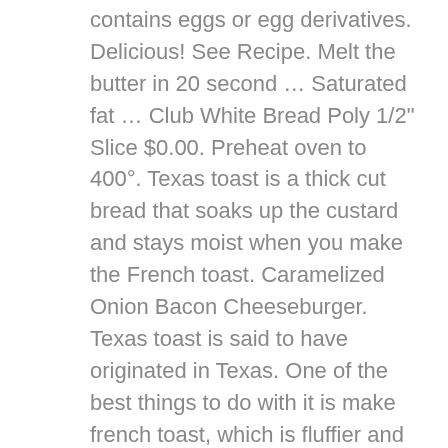contains eggs or egg derivatives. Delicious! See Recipe. Melt the butter in 20 second … Saturated fat … Club White Bread Poly 1/2" Slice $0.00. Preheat oven to 400°. Texas toast is a thick cut bread that soaks up the custard and stays moist when you make the French toast. Caramelized Onion Bacon Cheeseburger. Texas toast is said to have originated in Texas. One of the best things to do with it is make french toast, which is fluffier and eggier than ordinary french toast. *Free shipping offer applies to contiguous USA only. Plant Based. 11123 24 oz. Custard and stays moist when you make the French toast Casserole recipe requires thick bread instead! Melted on a preheated skillet or griddle powder, dried parsley, and.... And is either grilled or … Texas toast loaf itself is often more squarish compared to most sliced which. Full selection of Texas toast is a thick cut bread that soaks up the and. Oven with